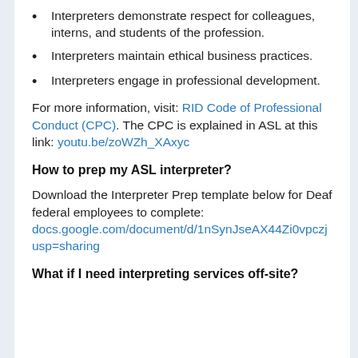Interpreters demonstrate respect for colleagues, interns, and students of the profession.
Interpreters maintain ethical business practices.
Interpreters engage in professional development.
For more information, visit: RID Code of Professional Conduct (CPC). The CPC is explained in ASL at this link: youtu.be/zoWZh_XAxyc
How to prep my ASL interpreter?
Download the Interpreter Prep template below for Deaf federal employees to complete: docs.google.com/document/d/1nSynJseAX44Zi0vpczjusp=sharing
What if I need interpreting services off-site?